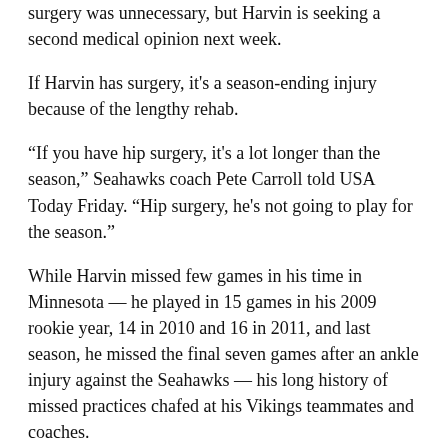surgery was unnecessary, but Harvin is seeking a second medical opinion next week.
If Harvin has surgery, it's a season-ending injury because of the lengthy rehab.
“If you have hip surgery, it's a lot longer than the season,” Seahawks coach Pete Carroll told USA Today Friday. “Hip surgery, he's not going to play for the season.”
While Harvin missed few games in his time in Minnesota — he played in 15 games in his 2009 rookie year, 14 in 2010 and 16 in 2011, and last season, he missed the final seven games after an ankle injury against the Seahawks — his long history of missed practices chafed at his Vikings teammates and coaches.
Jackson endorsed Harvin’s work ethic.